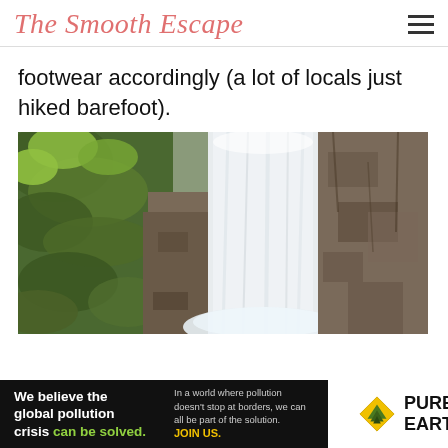The Smooth Escape
footwear accordingly (a lot of locals just hiked barefoot).
[Figure (photo): Aerial or close-up view of a large waterfall cascading down rocky cliffs surrounded by green vegetation]
[Figure (other): Advertisement banner: We believe the global pollution crisis can be solved. In a world where pollution doesn't stop at borders, we can all be part of the solution. JOIN US. PURE EARTH logo.]